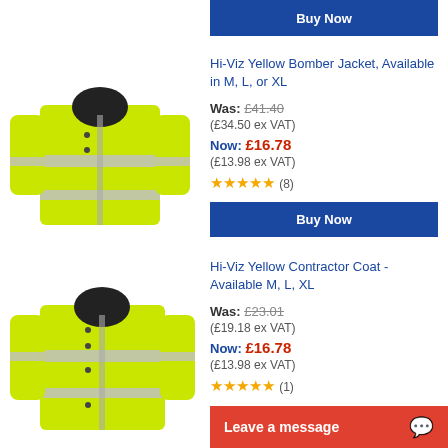[Figure (photo): Buy Now button at top of page for first product (partially visible, dark jacket)]
[Figure (photo): Hi-Viz yellow bomber jacket with reflective strips, available in M, L, or XL]
Hi-Viz Yellow Bomber Jacket, Available in M, L, or XL
Was: £41.40 (£34.50 ex VAT)
Now: £16.78 (£13.98 ex VAT)
★★★★★ (8)
[Figure (other): Buy Now button for Hi-Viz Yellow Bomber Jacket]
[Figure (photo): Hi-Viz yellow contractor coat with reflective strips, available in M, L, XL]
Hi-Viz Yellow Contractor Coat - Available M, L, XL
Was: £23.01 (£19.18 ex VAT)
Now: £16.78 (£13.98 ex VAT)
★★★★★ (1)
Leave a message